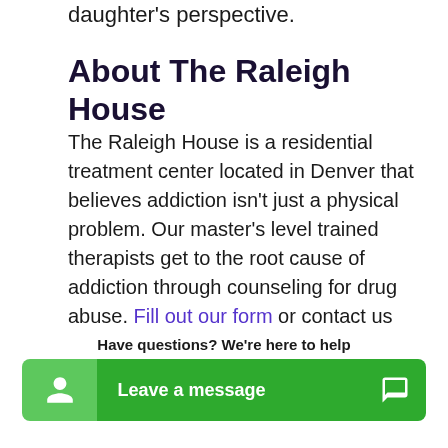daughter's perspective.
About The Raleigh House
The Raleigh House is a residential treatment center located in Denver that believes addiction isn't just a physical problem. Our master's level trained therapists get to the root cause of addiction through counseling for drug abuse. Fill out our form or contact us today to learn more about the stimulant addiction treatment program at The Raleigh House.
[Figure (other): Purple 'CALL NOW' banner button]
Have questions? We're here to help
[Figure (other): Green chat widget with person icon on left and 'Leave a message' text with chat icon on right]